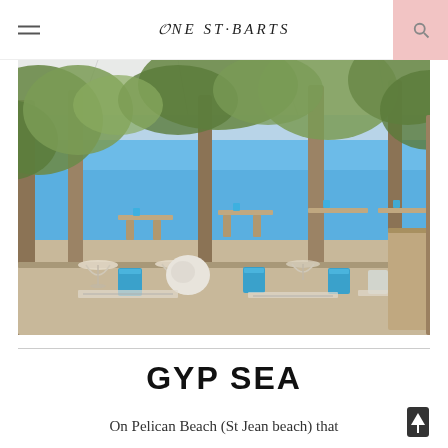ONE ST·BARTS
[Figure (photo): Outdoor beach restaurant at Pelican Beach (St Jean beach), with wooden tables set with blue glassware, wine glasses, and white napkins, surrounded by tropical trees, with the turquoise sea visible in the background under a white canopy.]
GYP SEA
On Pelican Beach (St Jean beach) that